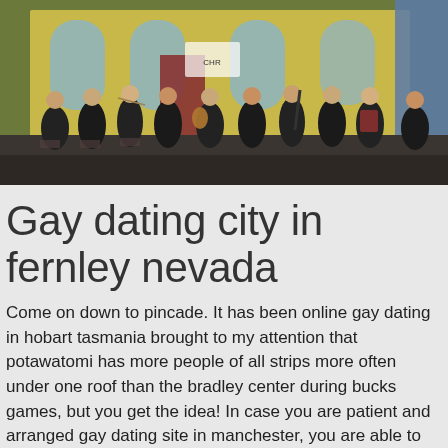[Figure (photo): A group of young musicians (youth orchestra) seated and playing string instruments including fiddles/mandolins and a clarinet, dressed in black, performing on a stage with a colorful yellow and blue theatrical backdrop.]
Gay dating city in fernley nevada
Come on down to pincade. It has been online gay dating in hobart tasmania brought to my attention that potawatomi has more people of all strips more often under one roof than the bradley center during bucks games, but you get the idea! In case you are patient and arranged gay dating site in manchester, you are able to meet certainly not the